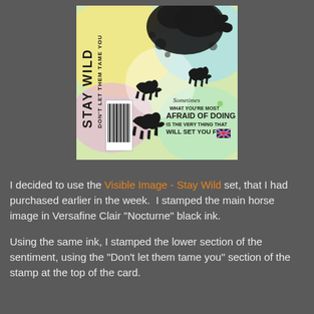[Figure (illustration): Product image of 'Visible Image - Stay Wild' stamp set showing horses silhouettes, colorful watercolor-style background, text reading STAY WILD, DON'T LET THEM TAME YOU, and a sentiment Sometimes what you're most afraid of doing is the very thing that will set you free, with UK flag icon and barcode.]
I decided to use the Visible Image - Stay Wild set, that I had purchased earlier in the week.  I stamped the main horse image in Versafine Clair "Nocturne" black ink.
Using the same ink, I stamped the lower section of the sentiment, using the "Don't let them tame you" section of the stamp at the top of the card.